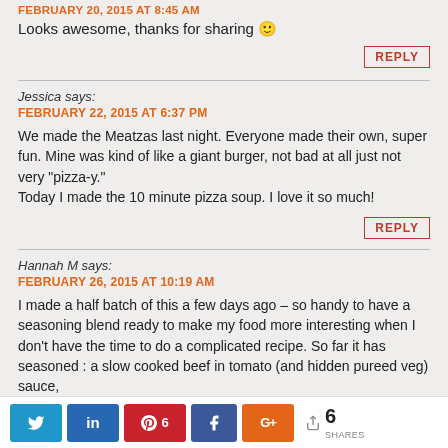FEBRUARY 20, 2015 AT 8:45 AM
Looks awesome, thanks for sharing 🙂
REPLY
Jessica says:
FEBRUARY 22, 2015 AT 6:37 PM
We made the Meatzas last night. Everyone made their own, super fun. Mine was kind of like a giant burger, not bad at all just not very "pizza-y."
Today I made the 10 minute pizza soup. I love it so much!
REPLY
Hannah M says:
FEBRUARY 26, 2015 AT 10:19 AM
I made a half batch of this a few days ago – so handy to have a seasoning blend ready to make my food more interesting when I don't have the time to do a complicated recipe. So far it has seasoned : a slow cooked beef in tomato (and hidden pureed veg) sauce,